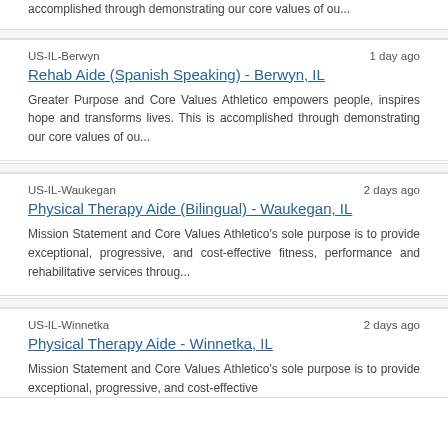accomplished through demonstrating our core values of ou...
US-IL-Berwyn
1 day ago
Rehab Aide (Spanish Speaking) - Berwyn, IL
Greater Purpose and Core Values Athletico empowers people, inspires hope and transforms lives. This is accomplished through demonstrating our core values of ou...
US-IL-Waukegan
2 days ago
Physical Therapy Aide (Bilingual) - Waukegan, IL
Mission Statement and Core Values Athletico's sole purpose is to provide exceptional, progressive, and cost-effective fitness, performance and rehabilitative services throug...
US-IL-Winnetka
2 days ago
Physical Therapy Aide - Winnetka, IL
Mission Statement and Core Values Athletico's sole purpose is to provide exceptional, progressive, and cost-effective